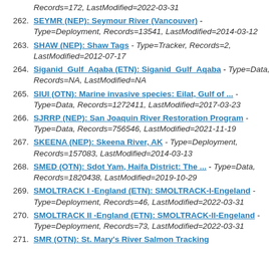Records=172, LastModified=2022-03-31
262. SEYMR (NEP): Seymour River (Vancouver) - Type=Deployment, Records=13541, LastModified=2014-03-12
263. SHAW (NEP): Shaw Tags - Type=Tracker, Records=2, LastModified=2012-07-17
264. Siganid_Gulf_Aqaba (ETN): Siganid_Gulf_Aqaba - Type=Data, Records=NA, LastModified=NA
265. SIUI (OTN): Marine invasive species: Eilat, Gulf of ... - Type=Data, Records=1272411, LastModified=2017-03-23
266. SJRRP (NEP): San Joaquin River Restoration Program - Type=Data, Records=756546, LastModified=2021-11-19
267. SKEENA (NEP): Skeena River, AK - Type=Deployment, Records=157083, LastModified=2014-03-13
268. SMED (OTN): Sdot Yam, Haifa District: The ... - Type=Data, Records=1820438, LastModified=2019-10-29
269. SMOLTRACK I -England (ETN): SMOLTRACK-I-Engeland - Type=Deployment, Records=46, LastModified=2022-03-31
270. SMOLTRACK II -England (ETN): SMOLTRACK-II-Engeland - Type=Deployment, Records=73, LastModified=2022-03-31
271. SMR (OTN): St. Mary's River Salmon Tracking